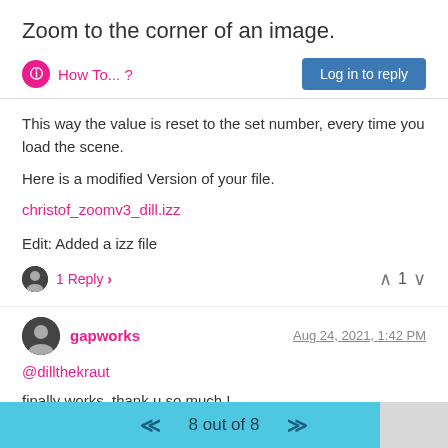Zoom to the corner of an image.
How To... ?
Log in to reply
This way the value is reset to the set number, every time you load the scene.
Here is a modified Version of your file.
christof_zoomv3_dill.izz
Edit: Added a izz file
1 Reply ›
1
gapworks
Aug 24, 2021, 1:42 PM
@dillthekraut
finally works, thank u so much !
8 out of 8